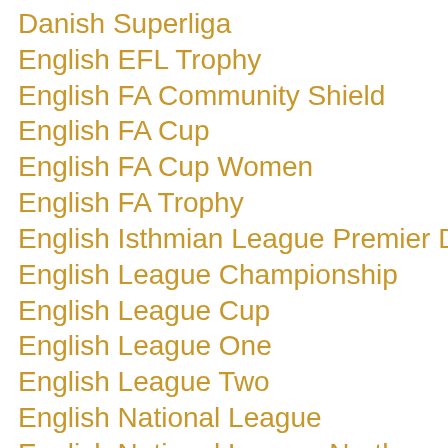Danish Superliga
English EFL Trophy
English FA Community Shield
English FA Cup
English FA Cup Women
English FA Trophy
English Isthmian League Premier Division
English League Championship
English League Cup
English League One
English League Two
English National League
English National League North
English National League South
English NPL Premier Division